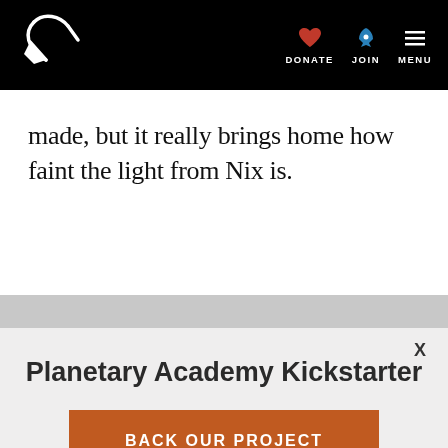Planetary Society navigation bar with logo, DONATE, JOIN, MENU
made, but it really brings home how faint the light from Nix is.
Planetary Academy Kickstarter
BACK OUR PROJECT